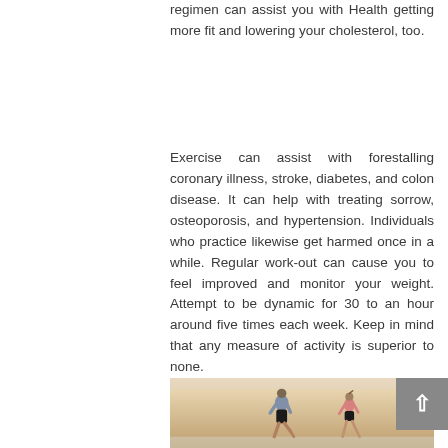regimen can assist you with Health getting more fit and lowering your cholesterol, too.
Exercise can assist with forestalling coronary illness, stroke, diabetes, and colon disease. It can help with treating sorrow, osteoporosis, and hypertension. Individuals who practice likewise get harmed once in a while. Regular work-out can cause you to feel improved and monitor your weight. Attempt to be dynamic for 30 to an hour around five times each week. Keep in mind that any measure of activity is superior to none.
[Figure (photo): Two people running outdoors, viewed from behind, in a bright sandy/outdoor setting.]